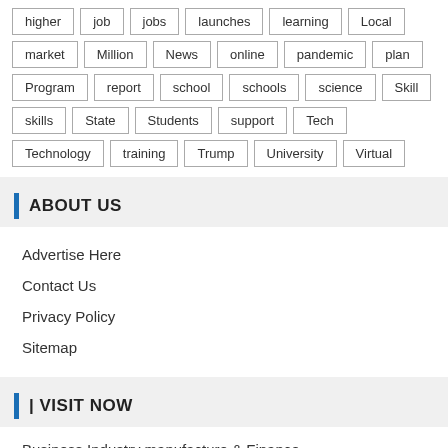higher | job | jobs | launches | learning | Local | market | Million | News | online | pandemic | plan | Program | report | school | schools | science | Skill | skills | State | Students | support | Tech | Technology | training | Trump | University | Virtual
ABOUT US
Advertise Here
Contact Us
Privacy Policy
Sitemap
| VISIT NOW
Business Industry manufacture & Finance